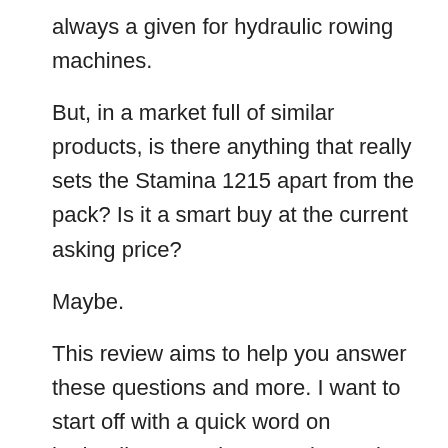always a given for hydraulic rowing machines.
But, in a market full of similar products, is there anything that really sets the Stamina 1215 apart from the pack? Is it a smart buy at the current asking price?
Maybe.
This review aims to help you answer these questions and more. I want to start off with a quick word on hydraulic rowers in general to make sure we all know what to expect from these machines.
Hydraulic Rowers 101
Hydraulic rowing machines get their name from the hydraulic pistons used to provide the resistance you pull against. The other types of rowers are also categorized